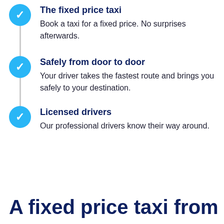The fixed price taxi — Book a taxi for a fixed price. No surprises afterwards.
Safely from door to door — Your driver takes the fastest route and brings you safely to your destination.
Licensed drivers — Our professional drivers know their way around.
A fixed price taxi from